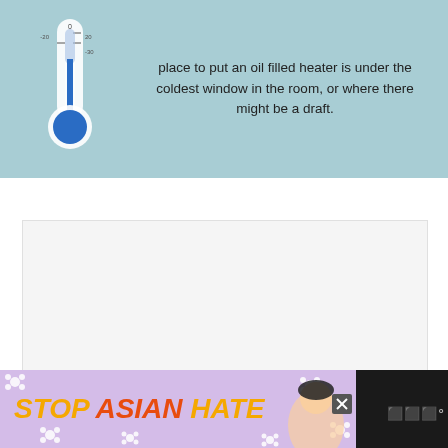[Figure (infographic): Infographic with light blue/teal background showing a thermometer illustration on the left and text on the right about placing an oil filled heater under the coldest window in the room, or where there might be a draft.]
place to put an oil filled heater is under the coldest window in the room, or where there might be a draft.
[Figure (other): White/light gray placeholder ad box with three loading dots in the center.]
[Figure (other): Bottom advertisement banner on dark background. Ad reads 'STOP ASIAN HATE' in bold orange/red italic text on a lavender background with white flower decorations. A close button X and a Wndr logo appear to the right.]